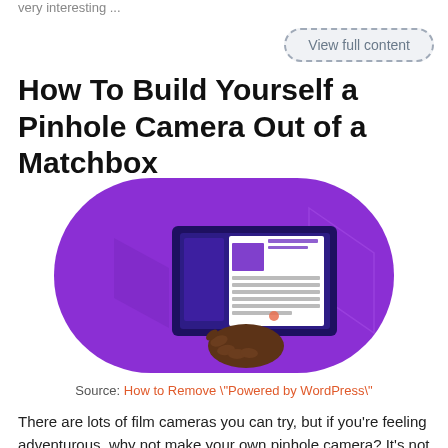very interesting ...
View full content
How To Build Yourself a Pinhole Camera Out of a Matchbox
[Figure (illustration): Purple/violet rounded rectangle background with an isometric illustration of a hand holding/touching a computer monitor displaying a document with text lines and an image placeholder, on a light purple geometric background.]
Source: How to Remove \"Powered by WordPress\"
There are lots of film cameras you can try, but if you're feeling adventurous, why not make your own pinhole camera? It's not